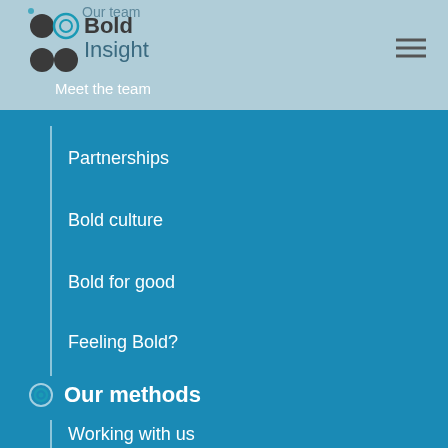[Figure (logo): Bold Insight logo with four overlapping circles in teal/dark and company name]
Our team
Meet the team
Partnerships
Bold culture
Bold for good
Feeling Bold?
Our methods
Working with us